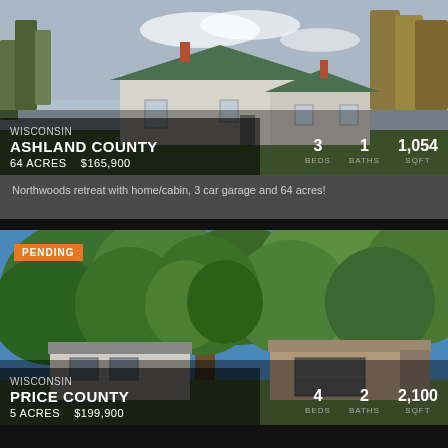[Figure (photo): White farmhouse with green metal roof surrounded by trees, Wisconsin real estate listing]
WISCONSIN
ASHLAND COUNTY
64 ACRES   $165,900
3 BEDS   1 BATHS   1,054 SQFT
Northwoods retreat with home/cabin, 3 car garage and 64 acres!
[Figure (photo): Ranch style house with attached garage surrounded by mature trees, Wisconsin real estate listing with PENDING status]
PENDING
WISCONSIN
PRICE COUNTY
5 ACRES   $199,900
4 BEDS   2 BATHS   2,100 SQFT